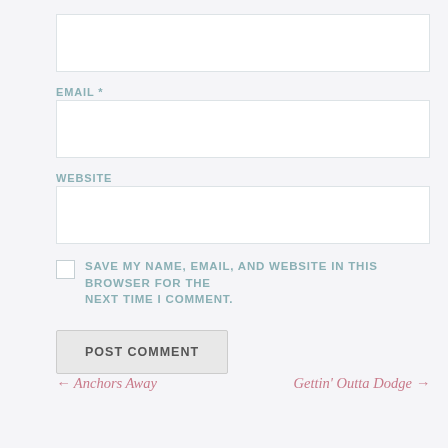(input field — unlabeled, top)
EMAIL *
(email input field)
WEBSITE
(website input field)
SAVE MY NAME, EMAIL, AND WEBSITE IN THIS BROWSER FOR THE NEXT TIME I COMMENT.
POST COMMENT
← Anchors Away
Gettin' Outta Dodge →